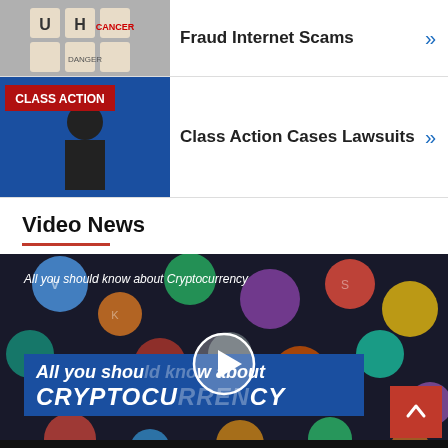Fraud Internet Scams
Class Action Cases Lawsuits
Video News
[Figure (screenshot): Video thumbnail for 'All you should know about Cryptocurrency' with play button overlay, colorful cryptocurrency coin icons background, blue banner text reading 'All you should know about CRYPTOCURRENCY']
All you should know about Cryptocurrency
2. Class Action Lawsuit Settlement